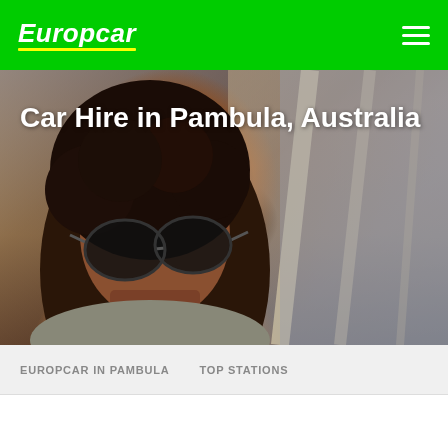Europcar
[Figure (photo): Woman with curly hair and sunglasses leaning out of a car window, warm golden light, car door frame visible on right side]
Car Hire in Pambula, Australia
EUROPCAR IN PAMBULA   TOP STATIONS